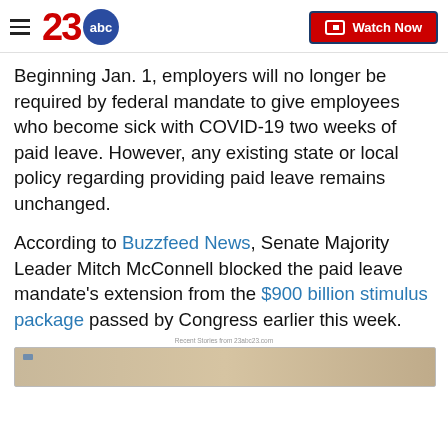23 abc — Watch Now
Beginning Jan. 1, employers will no longer be required by federal mandate to give employees who become sick with COVID-19 two weeks of paid leave. However, any existing state or local policy regarding providing paid leave remains unchanged.
According to Buzzfeed News, Senate Majority Leader Mitch McConnell blocked the paid leave mandate's extension from the $900 billion stimulus package passed by Congress earlier this week.
Recent Stories from 23abc23.com
[Figure (photo): A blurred/tan colored image appearing at the bottom of the page, partially visible]